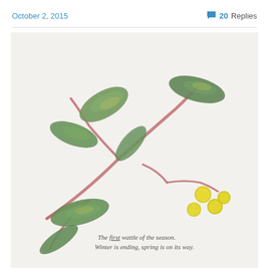October 2, 2015    💬 20 Replies
[Figure (illustration): Watercolor painting of a wattle branch with green leaves and small yellow fluffy flowers (wattle blossoms). Handwritten text at bottom reads: 'The first wattle of the season. Winter is ending, spring is on its way.']